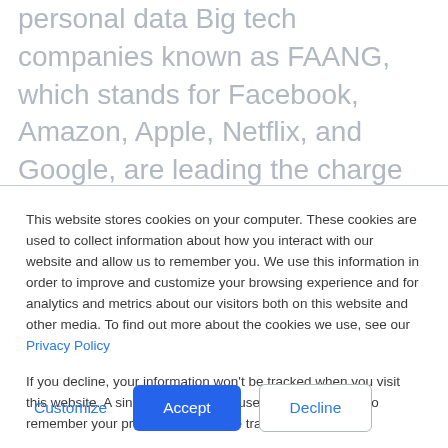personal data Big tech companies known as FAANG, which stands for Facebook, Amazon, Apple, Netflix, and Google, are leading the charge in disrupting the market thanks to their ability to reach billions of consumers and handle a larger amount of data.
This website stores cookies on your computer. These cookies are used to collect information about how you interact with our website and allow us to remember you. We use this information in order to improve and customize your browsing experience and for analytics and metrics about our visitors both on this website and other media. To find out more about the cookies we use, see our Privacy Policy
If you decline, your information won't be tracked when you visit this website. A single cookie will be used in your browser to remember your preference not to be tracked.